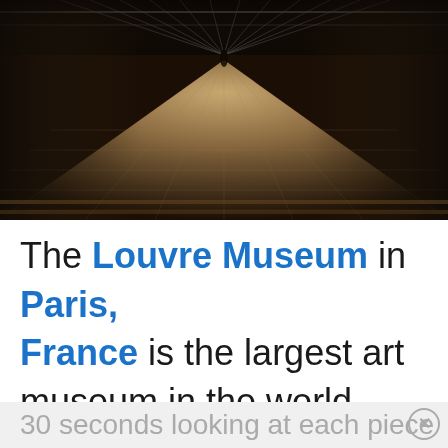[Figure (photo): Dark interior photograph of what appears to be a large museum or hall corridor, showing a wide marble or stone floor with dramatic lighting from above, perspective shot looking toward a distant doorway or entrance, with shadowy columns on the sides and a silhouetted figure in the background.]
The Louvre Museum in Paris, France is the largest art museum in the world. This museum is so big that if you wanted to spend
30 seconds looking at each piece